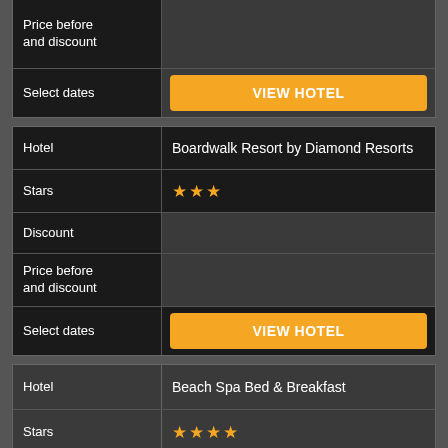| Field | Value |
| --- | --- |
| Price before and discount |  |
| Select dates | VIEW HOTEL |
| Field | Value |
| --- | --- |
| Hotel | Boardwalk Resort by Diamond Resorts |
| Stars | ★★★ |
| Discount |  |
| Price before and discount |  |
| Select dates | VIEW HOTEL |
| Field | Value |
| --- | --- |
| Hotel | Beach Spa Bed & Breakfast |
| Stars | ★★★★ |